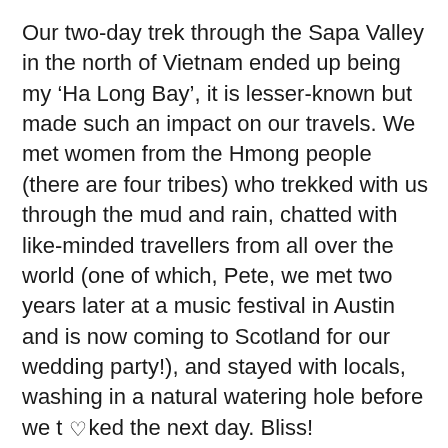Our two-day trek through the Sapa Valley in the north of Vietnam ended up being my ‘Ha Long Bay’, it is lesser-known but made such an impact on our travels. We met women from the Hmong people (there are four tribes) who trekked with us through the mud and rain, chatted with like-minded travellers from all over the world (one of which, Pete, we met two years later at a music festival in Austin and is now coming to Scotland for our wedding party!), and stayed with locals, washing in a natural watering hole before we t ♡ ked the next day. Bliss!
This is why we love Sapa